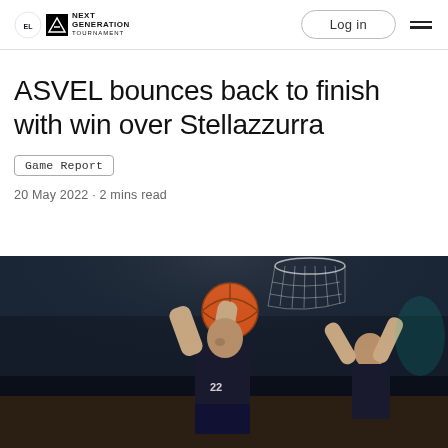EuroLeague | adidas | Next Generation Tournament — Log in
ASVEL bounces back to finish with win over Stellazzurra
Game Report
20 May 2022 • 2 mins read
[Figure (photo): Basketball player in dark uniform driving to the basket for a layup, another player with arms raised in background, basketball net visible above, arena setting with dark background]